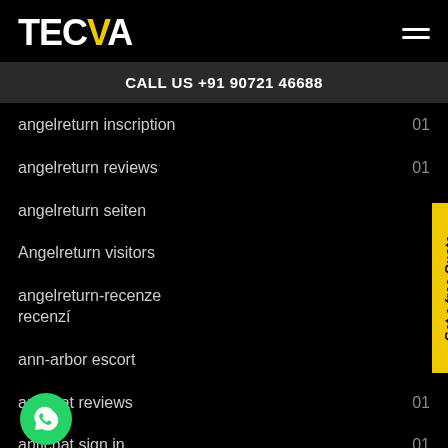TECVA
CALL US +91 90721 46688
angelreturn inscription  01
angelreturn reviews  01
angelreturn seiten
Angelreturn visitors
angelreturn-recenze recenzí
ann-arbor escort
antichat reviews  01
antichat sign in  01
apex acceso  01